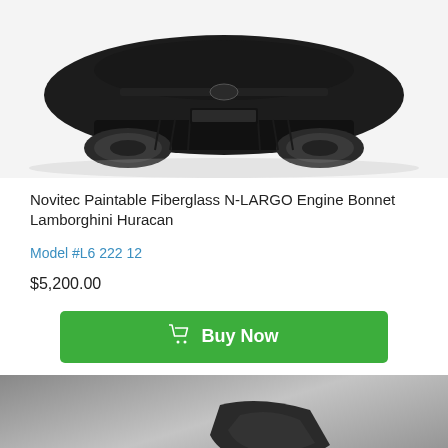[Figure (photo): Rear view of a black Lamborghini Huracan sports car on white background]
Novitec Paintable Fiberglass N-LARGO Engine Bonnet Lamborghini Huracan
Model #L6 222 12
$5,200.00
Buy Now
[Figure (photo): Partial view of a car part on grey background with UT 'Need Help? Live Chat Online Now!' banner at bottom]